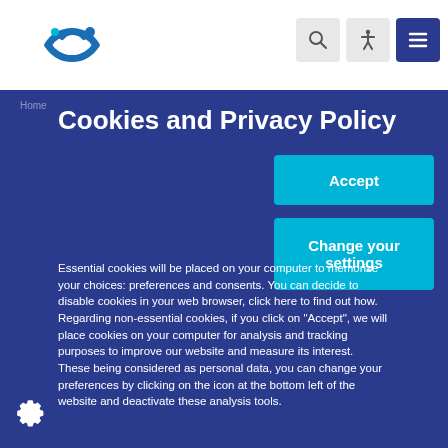[Figure (logo): Blue circular logo with two arcs and a small dot, representing an organization]
[Figure (infographic): Navigation bar icons: search magnifier, accessibility person, hamburger menu]
Cookies and Privacy Policy
Essential cookies will be placed on your computer to memorize your choices: preferences and consents. You can decide to disable cookies in your web browser, click here to find out how. Regarding non-essential cookies, if you click on "Accept", we will place cookies on your computer for analysis and tracking purposes to improve our website and measure its interest.
These being considered as personal data, you can change your preferences by clicking on the icon at the bottom left of the website and deactivate these analysis tools.
[Figure (other): Accept button - cyan/teal colored button with white text 'Accept']
[Figure (other): Change your settings button - cyan/teal colored button with white text 'Change your settings']
[Figure (other): Settings gear icon at bottom left]